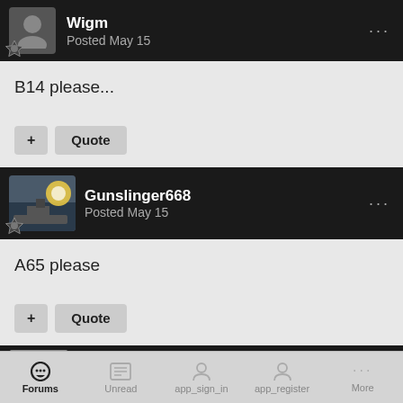Wigm — Posted May 15
B14 please...
+ Quote
Gunslinger668 — Posted May 15
A65 please
+ Quote
Nike-Ajax
Forums | Unread | app_sign_in | app_register | More